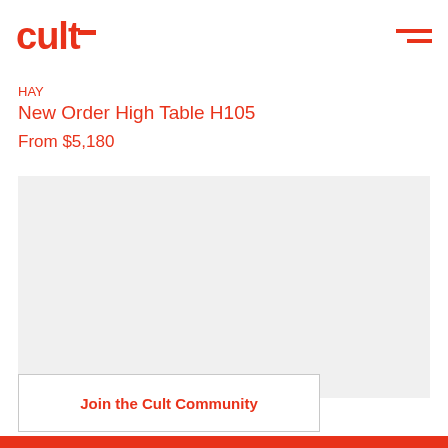cult
HAY
New Order High Table H105
From $5,180
[Figure (photo): Product image area — light gray placeholder for HAY New Order High Table H105 product photo]
Join the Cult Community